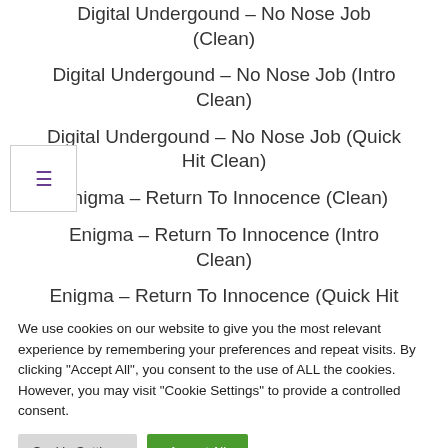Digital Undergound – No Nose Job (Clean)
Digital Undergound – No Nose Job (Intro Clean)
Digital Undergound – No Nose Job (Quick Hit Clean)
Enigma – Return To Innocence (Clean)
Enigma – Return To Innocence (Intro Clean)
Enigma – Return To Innocence (Quick Hit Clean)
We use cookies on our website to give you the most relevant experience by remembering your preferences and repeat visits. By clicking "Accept All", you consent to the use of ALL the cookies. However, you may visit "Cookie Settings" to provide a controlled consent.